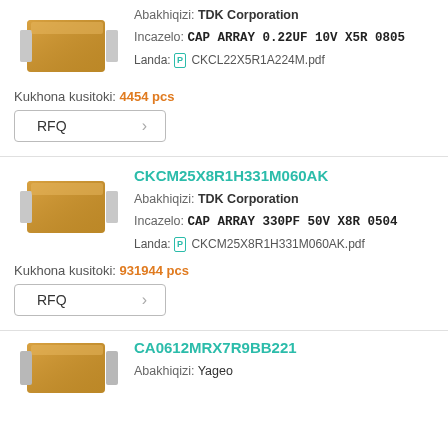[Figure (photo): Ceramic capacitor component illustration, brown box shape with silver leads]
Abakhiqizi: TDK Corporation
Incazelo: CAP ARRAY 0.22UF 10V X5R 0805
Landa: CKCL22X5R1A224M.pdf
Kukhona kusitoki: 4454 pcs
RFQ
CKCM25X8R1H331M060AK
[Figure (photo): Ceramic capacitor component illustration, brown box shape with silver leads]
Abakhiqizi: TDK Corporation
Incazelo: CAP ARRAY 330PF 50V X8R 0504
Landa: CKCM25X8R1H331M060AK.pdf
Kukhona kusitoki: 931944 pcs
RFQ
CA0612MRX7R9BB221
[Figure (photo): Ceramic capacitor component illustration, brown box shape with silver leads, partially visible]
Abakhiqizi: Yageo